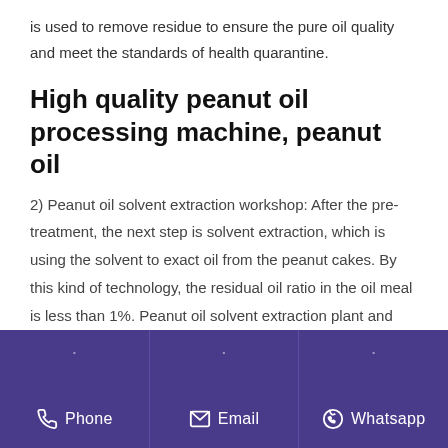is used to remove residue to ensure the pure oil quality and meet the standards of health quarantine.
High quality peanut oil processing machine, peanut oil
2) Peanut oil solvent extraction workshop: After the pre-treatment, the next step is solvent extraction, which is using the solvent to exact oil from the peanut cakes. By this kind of technology, the residual oil ratio in the oil meal is less than 1%. Peanut oil solvent extraction plant and working process flow chart. 3) Peanut oil refinery plant:
Phone | Email | Whatsapp